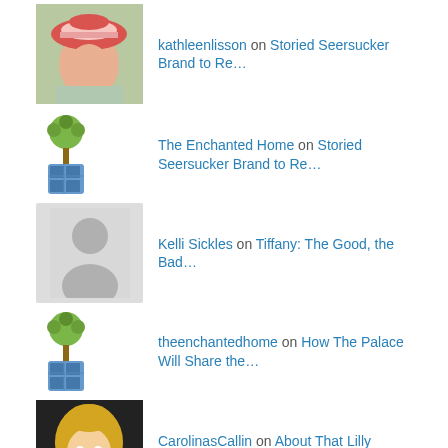kathleenlisson on Storied Seersucker Brand to Re…
The Enchanted Home on Storied Seersucker Brand to Re…
Kelli Sickles on Tiffany: The Good, the Bad…
theenchantedhome on How The Palace Will Share the…
CarolinasCallin on About That Lilly Warehouse Sal…
Subscribe to The Princess blog!
Enter your email address to subscribe to The Preppy Princess blog and receive notifications of new posts by email.
Email Address